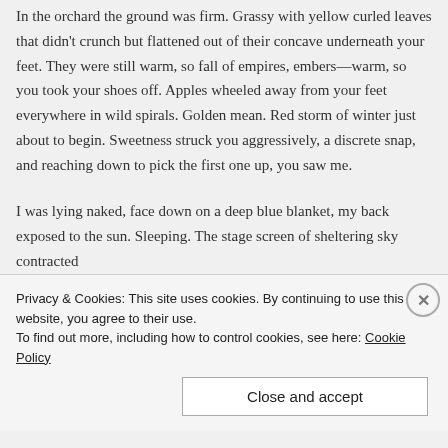In the orchard the ground was firm. Grassy with yellow curled leaves that didn't crunch but flattened out of their concave underneath your feet. They were still warm, so fall of empires, embers—warm, so you took your shoes off. Apples wheeled away from your feet everywhere in wild spirals. Golden mean. Red storm of winter just about to begin. Sweetness struck you aggressively, a discrete snap, and reaching down to pick the first one up, you saw me.
I was lying naked, face down on a deep blue blanket, my back exposed to the sun. Sleeping. The stage screen of sheltering sky contracted
Privacy & Cookies: This site uses cookies. By continuing to use this website, you agree to their use.
To find out more, including how to control cookies, see here: Cookie Policy
Close and accept